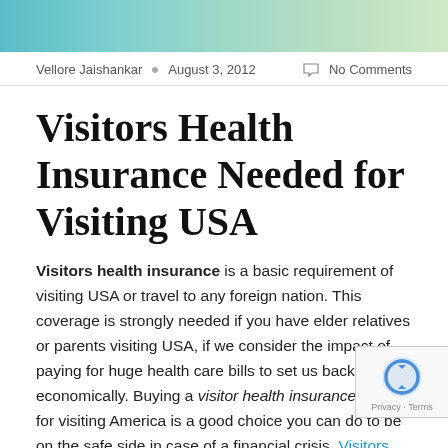[Figure (photo): Cropped photo strip showing people, partially visible at top of page]
Vellore Jaishankar • August 3, 2012 ○ No Comments
Visitors Health Insurance Needed for Visiting USA
Visitors health insurance is a basic requirement of visiting USA or travel to any foreign nation. This coverage is strongly needed if you have elder relatives or parents visiting USA, if we consider the impact of paying for huge health care bills to set us back economically. Buying a visitor health insurance plan for visiting America is a good choice you can do to be on the safe side in case of a financial crisis. Visitors health insurance plans are affordable and flexible, and can vary depending on which plan you choose and the length of the